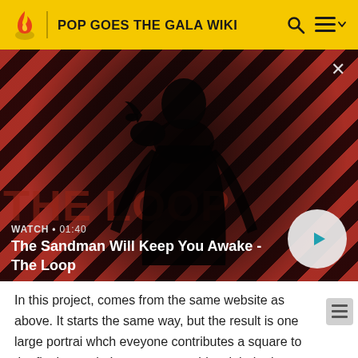POP GOES THE GALA WIKI
[Figure (screenshot): Video thumbnail showing a dark figure (man in black coat with a raven/crow on his shoulder) against a red and dark striped background. Overlay text reads: WATCH • 01:40 / The Sandman Will Keep You Awake - The Loop. A circular play button is visible at the bottom right.]
In this project, comes from the same website as above. It starts the same way, but the result is one large portrait whch eveyone contributes a square to the final portrait. In some ways, this might be better for older students simply because they will need to understand about contributing